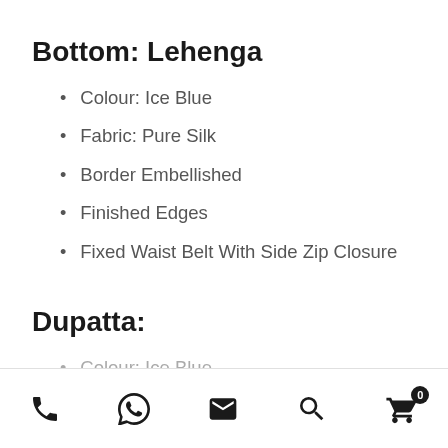Bottom: Lehenga
Colour: Ice Blue
Fabric: Pure Silk
Border Embellished
Finished Edges
Fixed Waist Belt With Side Zip Closure
Dupatta:
Colour: Ice Blue
Phone | WhatsApp | Email | Search | Cart (0)